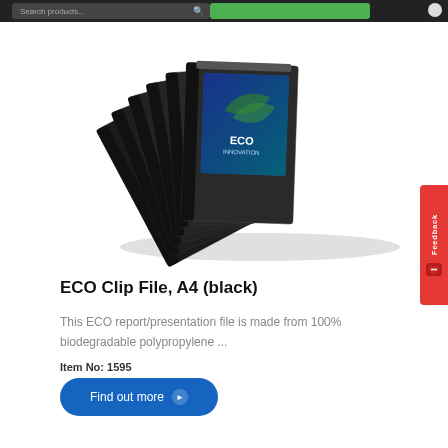[Figure (photo): Stack of black ECO Clip Files, A4 size, fanned out with one file showing a blue/teal ECO branding label on the cover. Dark background items against white background.]
ECO Clip File, A4 (black)
This ECO report/presentation file is made from 100% biodegradable polypropylene ...
Item No: 1595
Find out more ▶